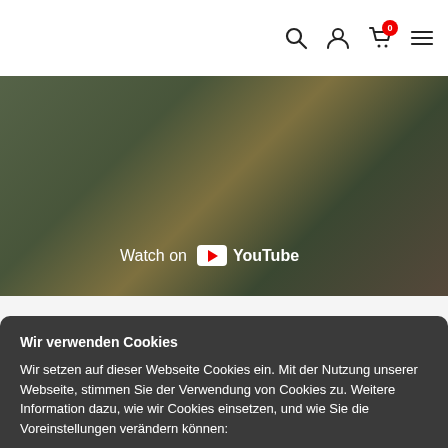[Figure (screenshot): Navigation bar with search, user, cart (0), and menu icons]
[Figure (screenshot): YouTube video thumbnail showing aerial/helicopter footage with 'Watch on YouTube' overlay]
Wir verwenden Cookies
Wir setzen auf dieser Webseite Cookies ein. Mit der Nutzung unserer Webseite, stimmen Sie der Verwendung von Cookies zu. Weitere Information dazu, wie wir Cookies einsetzen, und wie Sie die Voreinstellungen verändern können:
Einstellungen
Datenschutzerklärung
ablehnen
akzeptieren
blades and composite tail rotor blades.